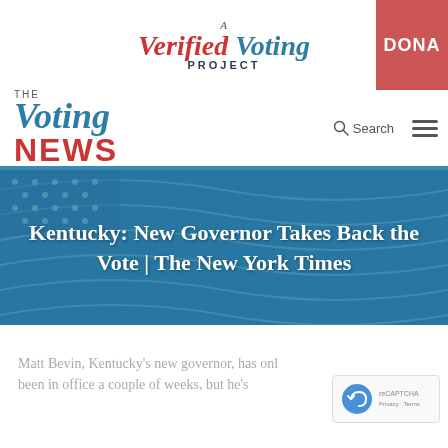[Figure (logo): A Verified Voting Project logo with red and blue serif italic text]
[Figure (logo): The Voting News logo with blue italic 'Voting' and red bold 'NEWS']
[Figure (illustration): Blue teal hero banner with American flag background]
Kentucky: New Governor Takes Back the Vote | The New York Times
Matt Bevin, Kentucky's new governor, has only been in office a couple of weeks, but he's